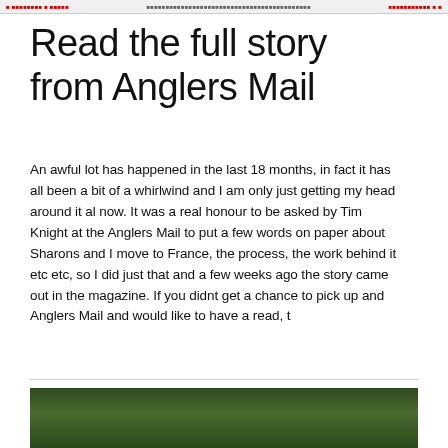Read the full story from Anglers Mail
An awful lot has happened in the last 18 months, in fact it has all been a bit of a whirlwind and I am only just getting my head around it al now. It was a real honour to be asked by Tim Knight at the Anglers Mail to put a few words on paper about Sharons and I move to France, the process, the work behind it etc etc, so I did just that and a few weeks ago the story came out in the magazine. If you didnt get a chance to pick up and Anglers Mail and would like to have a read, t
[Figure (photo): Green outdoor/nature scene, appears to be trees or vegetation]